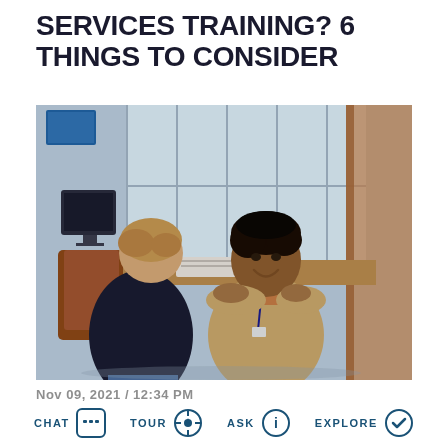SERVICES TRAINING? 6 THINGS TO CONSIDER
[Figure (photo): Two people in an office/counseling setting — one person (back to camera, seated in a brown chair) and another person (facing camera, wearing a tan/brown sweater with a lanyard badge, smiling) leaning over a desk with papers. Office background with windows and a computer monitor visible. A brown wooden door frame visible on the right edge.]
Nov 09, 2021 / 12:34 PM
CHAT  TOUR  ASK  EXPLORE